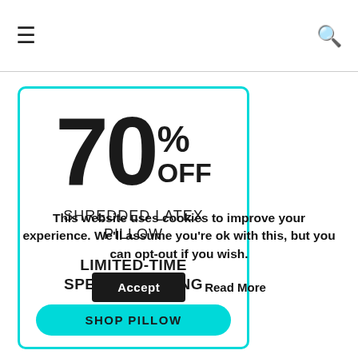≡  🔍
[Figure (infographic): Promotional card with cyan border showing 70% OFF Shredded Latex Pillow, Limited-Time Special Pricing, and a SHOP PILLOW button]
This website uses cookies to improve your experience. We'll assume you're ok with this, but you can opt-out if you wish.
Accept  Read More